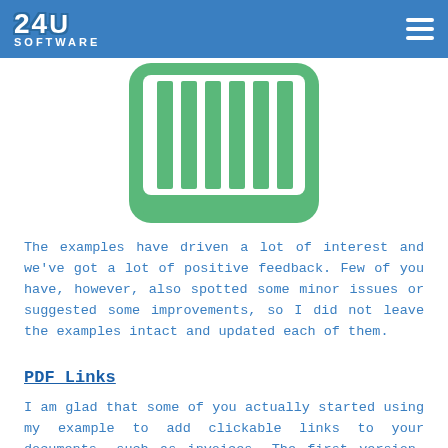24U SOFTWARE
[Figure (illustration): Green barcode/spreadsheet icon on white background — rounded rectangle with vertical bars representing a barcode or table rows.]
The examples have driven a lot of interest and we've got a lot of positive feedback. Few of you have, however, also spotted some minor issues or suggested some improvements, so I did not leave the examples intact and updated each of them.
PDF Links
I am glad that some of you actually started using my example to add clickable links to your documents, such as invoices. The first version, however, did not work correctly for PDFs with appended pages, and PDFs...